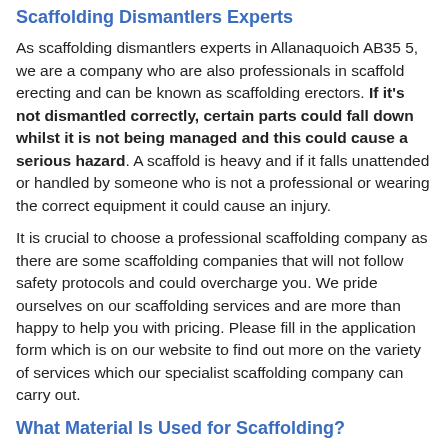Scaffolding Dismantlers Experts
As scaffolding dismantlers experts in Allanaquoich AB35 5, we are a company who are also professionals in scaffold erecting and can be known as scaffolding erectors. If it's not dismantled correctly, certain parts could fall down whilst it is not being managed and this could cause a serious hazard. A scaffold is heavy and if it falls unattended or handled by someone who is not a professional or wearing the correct equipment it could cause an injury.
It is crucial to choose a professional scaffolding company as there are some scaffolding companies that will not follow safety protocols and could overcharge you. We pride ourselves on our scaffolding services and are more than happy to help you with pricing. Please fill in the application form which is on our website to find out more on the variety of services which our specialist scaffolding company can carry out.
What Material Is Used for Scaffolding?
The material used for scaffolding in Allanaquoich is usually steel or aluminum metal. This is important as the metal needs to be strong